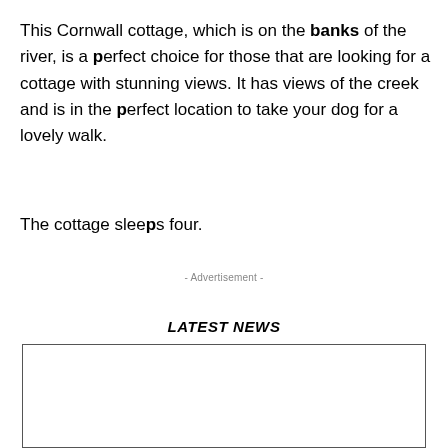This Cornwall cottage, which is on the banks of the river, is a perfect choice for those that are looking for a cottage with stunning views. It has views of the creek and is in the perfect location to take your dog for a lovely walk.
The cottage sleeps four.
- Advertisement -
LATEST NEWS
[Figure (other): Empty bordered box placeholder for news content]